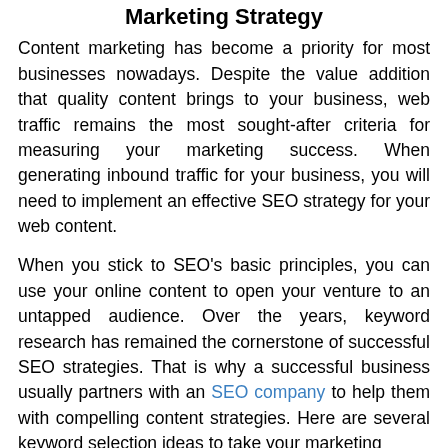Marketing Strategy
Content marketing has become a priority for most businesses nowadays. Despite the value addition that quality content brings to your business, web traffic remains the most sought-after criteria for measuring your marketing success. When generating inbound traffic for your business, you will need to implement an effective SEO strategy for your web content.
When you stick to SEO's basic principles, you can use your online content to open your venture to an untapped audience. Over the years, keyword research has remained the cornerstone of successful SEO strategies. That is why a successful business usually partners with an SEO company to help them with compelling content strategies. Here are several keyword selection ideas to take your marketing